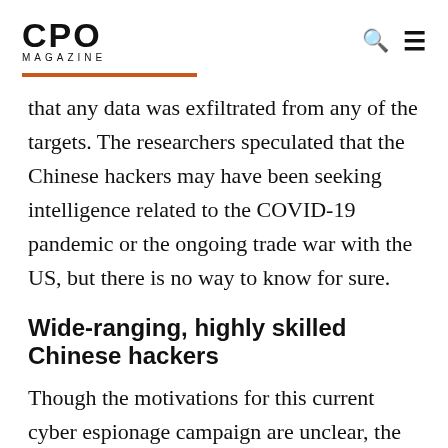CPO MAGAZINE
that any data was exfiltrated from any of the targets. The researchers speculated that the Chinese hackers may have been seeking intelligence related to the COVID-19 pandemic or the ongoing trade war with the US, but there is no way to know for sure.
Wide-ranging, highly skilled Chinese hackers
Though the motivations for this current cyber espionage campaign are unclear, the methodology is consistent with APT41's established cyber espionage patterns. The